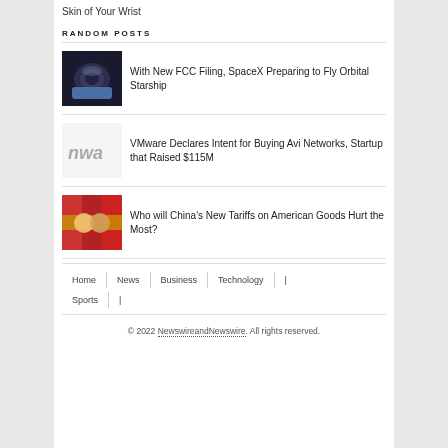Skin of Your Wrist
RANDOM POSTS
With New FCC Filing, SpaceX Preparing to Fly Orbital Starship
VMware Declares Intent for Buying Avi Networks, Startup that Raised $115M
Who will China's New Tariffs on American Goods Hurt the Most?
Home | News | Business | Technology | Sports
© 2022 NewswireandNewswire. All rights reserved.